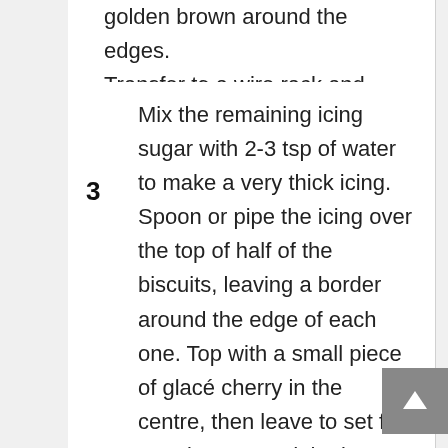golden brown around the edges. Transfer to a wire rack and leave to cool completely.
3  Mix the remaining icing sugar with 2-3 tsp of water to make a very thick icing. Spoon or pipe the icing over the top of half of the biscuits, leaving a border around the edge of each one. Top with a small piece of glacé cherry in the centre, then leave to set for 30 mins. Spread the jam over the un-iced biscuits and sandwich together with the iced halves. Will keep for two days in an airtight tin.